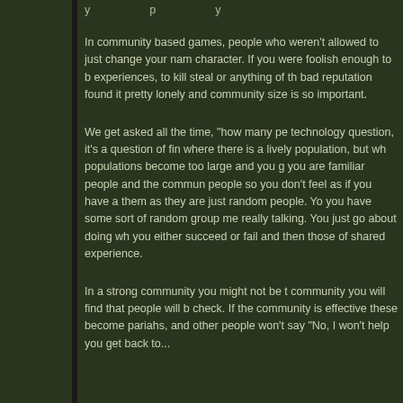y... p... y...
In community based games, people who weren't allowed to just change your name character. If you were foolish enough to b experiences, to kill steal or anything of th bad reputation found it pretty lonely and community size is so important.
We get asked all the time, "how many pe technology question, it's a question of fin where there is a lively population, but wh populations become too large and you g you are familiar people and the commun people so you don't feel as if you have a them as they are just random people. Yo you have some sort of random group me really talking. You just go about doing wh you either succeed or fail and then those of shared experience.
In a strong community you might not be community you will find that people will b check. If the community is effective these become pariahs, and other people won't say "No, I won't help you get back to...